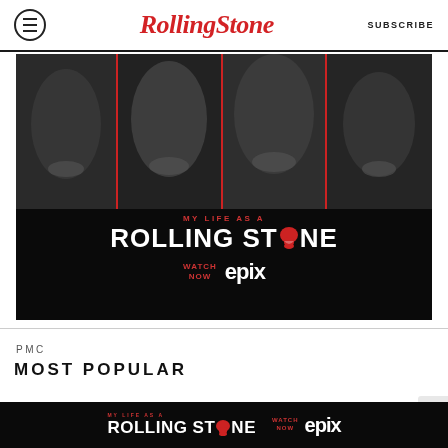Rolling Stone | SUBSCRIBE
[Figure (photo): Advertisement for 'My Life as a Rolling Stone' documentary on EPIX. Black and white close-up faces of four Rolling Stones members (Ronnie Wood, Keith Richards, Mick Jagger, Charlie Watts) with vertical red stripe dividers. Text reads: MY LIFE AS A / ROLLING STONE / WATCH NOW EPIX]
PMC
MOST POPULAR
[Figure (photo): Bottom sticky advertisement banner for 'My Life as a Rolling Stone' on EPIX. Dark background with Rolling Stone title logo with tongue logo and WATCH NOW EPIX text.]